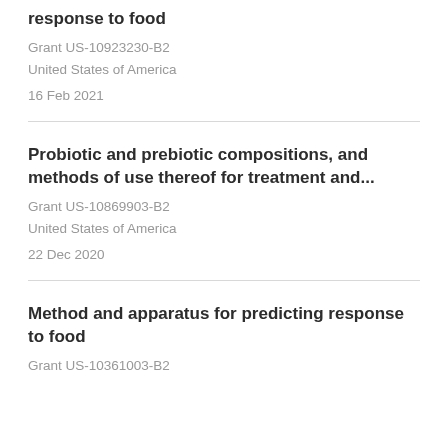response to food
Grant US-10923230-B2
United States of America
16 Feb 2021
Probiotic and prebiotic compositions, and methods of use thereof for treatment and...
Grant US-10869903-B2
United States of America
22 Dec 2020
Method and apparatus for predicting response to food
Grant US-10361003-B2